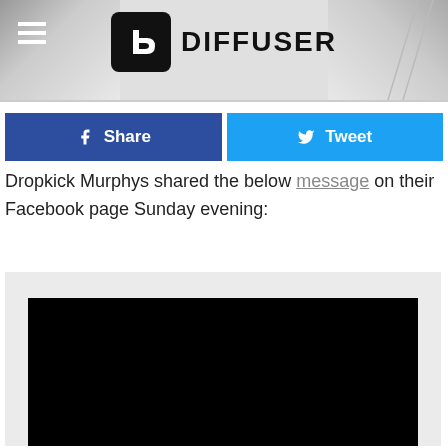DIFFUSER
Dropkick Murphys shared the below message on their Facebook page Sunday evening:
[Figure (screenshot): Embedded Facebook post with a black image/video area on a light gray background]